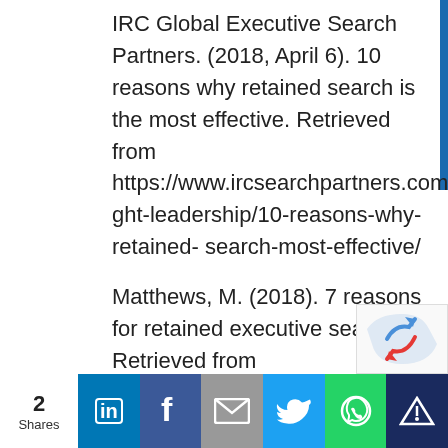IRC Global Executive Search Partners. (2018, April 6). 10 reasons why retained search is the most effective. Retrieved from https://www.ircsearchpartners.com/thought-leadership/10-reasons-why-retained-search-most-effective/
Matthews, M. (2018). 7 reasons for retained executive search. Retrieved from https://www.stantonchase.com/7-reasons-why-companies-retain-an-executive-search-firm/
2 Shares | LinkedIn | Facebook | Email | Twitter | WhatsApp | (icon)